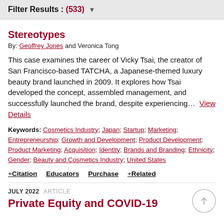Filter Results : (533) ▼
Stereotypes
By: Geoffrey Jones and Veronica Tong
This case examines the career of Vicky Tsai, the creator of San Francisco-based TATCHA, a Japanese-themed luxury beauty brand launched in 2009. It explores how Tsai developed the concept, assembled management, and successfully launched the brand, despite experiencing...  View Details
Keywords: Cosmetics Industry; Japan; Startup; Marketing; Entrepreneurship; Growth and Development; Product Development; Product Marketing; Acquisition; Identity; Brands and Branding; Ethnicity; Gender; Beauty and Cosmetics Industry; United States
+ Citation   Educators   Purchase   + Related
JULY 2022  ARTICLE
Private Equity and COVID-19